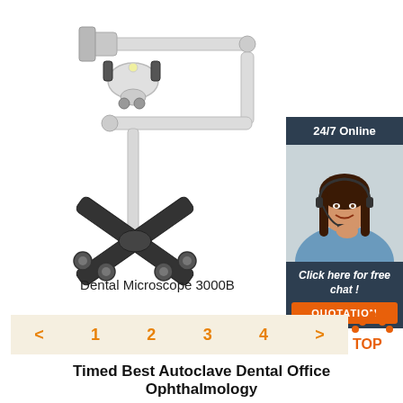[Figure (photo): Dental Microscope 3000B on a wheeled stand with articulated arm, white finish with black base]
[Figure (photo): 24/7 Online chat widget with a smiling woman wearing a headset, dark blue background, with 'Click here for free chat!' text and orange QUOTATION button]
Dental Microscope 3000B
[Figure (infographic): Pagination bar with < 1 2 3 4 > in orange on a beige background, and a TOP button with orange arrow icon on the right]
Timed Best Autoclave Dental Office Ophthalmology